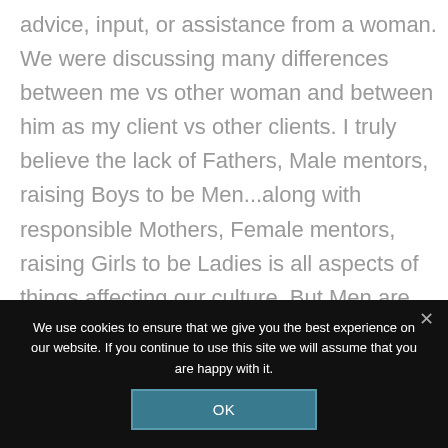advice, input, or assistance from a woman. We were discussing many differences between me vs other woman and between him as my client vs other clients. I truly believe the lack of Fathers, Male mentors, raising Boys to be Men...along with responsible Mothers, Female mentors, raising Girls to be Ladies is all aspects of things affecting our culture. But Men are meant to be the leader, head of the home,
We use cookies to ensure that we give you the best experience on our website. If you continue to use this site we will assume that you are happy with it.